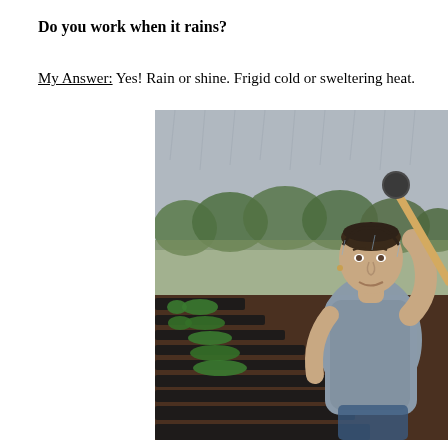Do you work when it rains?
My Answer: Yes! Rain or shine. Frigid cold or sweltering heat.
[Figure (photo): A person standing in a rain-soaked farm field holding a mallet or post driver over their shoulder, wet hair slicked back, wearing a grey t-shirt. Green crop rows and black plastic mulch are visible in the background along with trees under rainy overcast skies.]